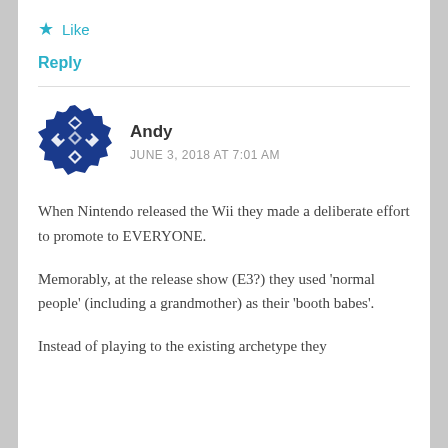★ Like
Reply
Andy
JUNE 3, 2018 AT 7:01 AM
When Nintendo released the Wii they made a deliberate effort to promote to EVERYONE.
Memorably, at the release show (E3?) they used 'normal people' (including a grandmother) as their 'booth babes'.
Instead of playing to the existing archetype they